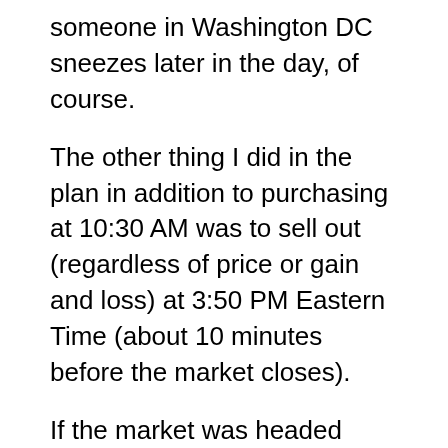someone in Washington DC sneezes later in the day, of course.
The other thing I did in the plan in addition to purchasing at 10:30 AM was to sell out (regardless of price or gain and loss) at 3:50 PM Eastern Time (about 10 minutes before the market closes).
If the market was headed down at 10:30 AM I purchased SQQQ ... the ETF that would go up in value as the market dropped.  By market here I mean the NASDAQ Index.  It is possible for the NASDAQ to go down while the S&P 500 and the Dow go up.  It is also possible for the